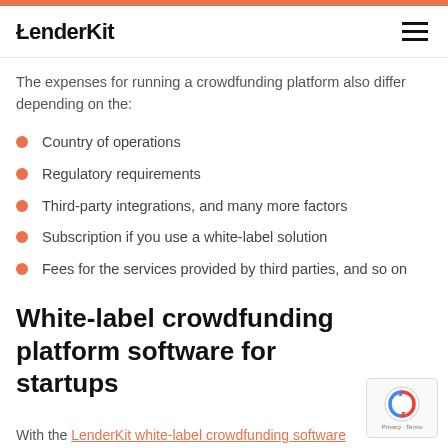LenderKit
The expenses for running a crowdfunding platform also differ depending on the:
Country of operations
Regulatory requirements
Third-party integrations, and many more factors
Subscription if you use a white-label solution
Fees for the services provided by third parties, and so on
White-label crowdfunding platform software for startups
With the LenderKit white-label crowdfunding software